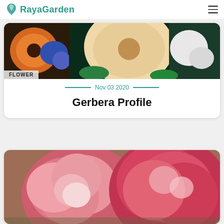RayaGarden
[Figure (photo): Flower arrangement photo showing orange gerbera, blue and purple flowers on dark background with a 'FLOWER' tag overlay]
Nov 03 2020
Gerbera Profile
[Figure (photo): Close-up photo of pink and red carnation flowers with ruffled petals on a blurred background]